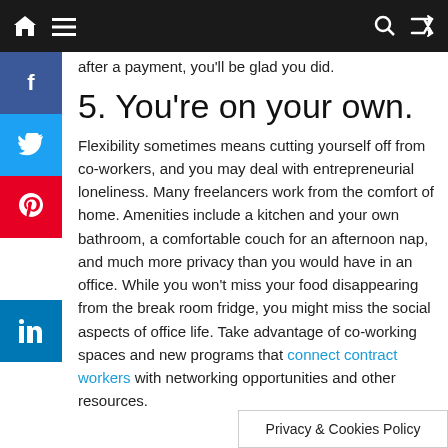Navigation bar with home, menu, search, and shuffle icons
after a payment, you'll be glad you did.
5. You're on your own.
Flexibility sometimes means cutting yourself off from co-workers, and you may deal with entrepreneurial loneliness. Many freelancers work from the comfort of home. Amenities include a kitchen and your own bathroom, a comfortable couch for an afternoon nap, and much more privacy than you would have in an office. While you won't miss your food disappearing from the break room fridge, you might miss the social aspects of office life. Take advantage of co-working spaces and new programs that connect contract workers with networking opportunities and other resources.
Privacy & Cookies Policy